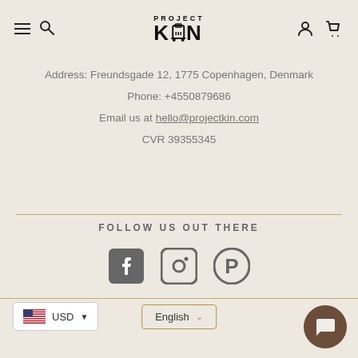[Figure (logo): Project KIN luggage brand logo with hamburger menu and search icons on left, user and cart icons on right]
Address: Freundsgade 12, 1775 Copenhagen, Denmark
Phone: +4550879686
Email us at hello@projectkin.com
CVR 39355345
FOLLOW US OUT THERE
[Figure (infographic): Social media icons: Facebook, Instagram, Pinterest]
[Figure (infographic): Footer controls: USD currency selector with US flag, English language selector, chat bubble button]